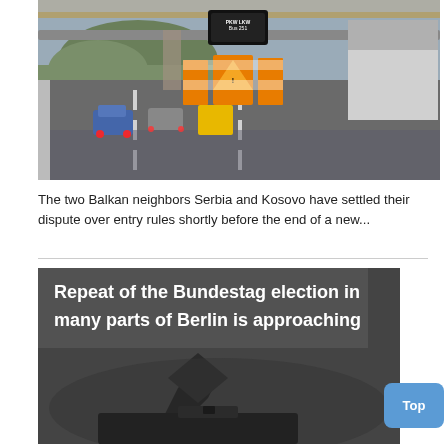[Figure (photo): Highway border checkpoint scene in rainy conditions with trucks and construction warning signs. Vehicles queued under overhead gantry with electronic signs.]
The two Balkan neighbors Serbia and Kosovo have settled their dispute over entry rules shortly before the end of a new...
[Figure (photo): Black and white photo of a hand dropping a ballot into a box, with overlaid white bold text headline: Repeat of the Bundestag election in many parts of Berlin is approaching]